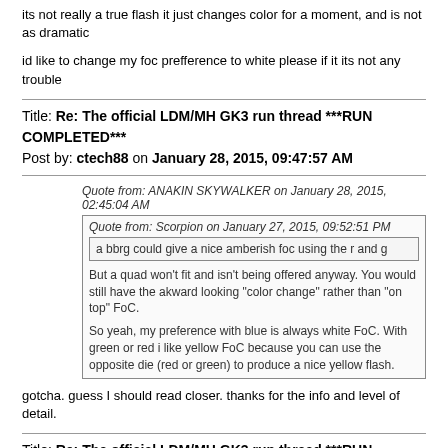its not really a true flash it just changes color for a moment, and is not as dramatic
id like to change my foc prefference to white please if it its not any trouble
Title: Re: The official LDM/MH GK3 run thread ***RUN COMPLETED***
Post by: ctech88 on January 28, 2015, 09:47:57 AM
Quote from: ANAKIN SKYWALKER on January 28, 2015, 02:45:04 AM
  Quote from: Scorpion on January 27, 2015, 09:52:51 PM
    a bbrg could give a nice amberish foc using the r and g
  But a quad won't fit and isn't being offered anyway. You would still have the akward looking "color change" rather than "on top" FoC.
  So yeah, my preference with blue is always white FoC. With green or red i like yellow FoC because you can use the opposite die (red or green) to produce a nice yellow flash.
gotcha. guess I should read closer. thanks for the info and level of detail.
Title: Re: The official LDM/MH GK3 run thread ***RUN COMPLETED***
Post by: Watto on January 28, 2015, 11:40:04 AM
@ ANAKIN SKYWALKER